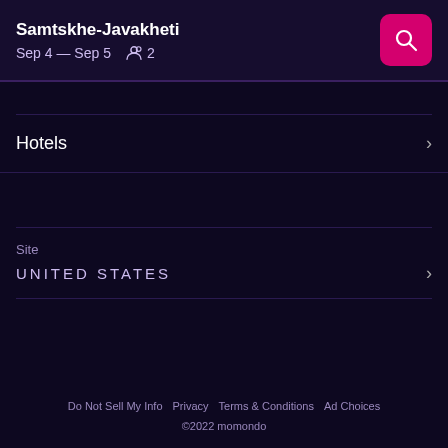Samtskhe-Javakheti
Sep 4 — Sep 5  2
Hotels
Site
UNITED STATES
Do Not Sell My Info  Privacy  Terms & Conditions  Ad Choices
©2022 momondo